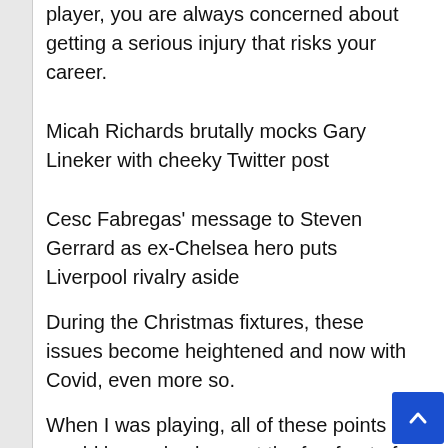player, you are always concerned about getting a serious injury that risks your career.
Micah Richards brutally mocks Gary Lineker with cheeky Twitter post
Cesc Fabregas' message to Steven Gerrard as ex-Chelsea hero puts Liverpool rivalry aside
During the Christmas fixtures, these issues become heightened and now with Covid, even more so.
When I was playing, all of these points would have also been at the forefront of my mind because all I ever thought about was winning